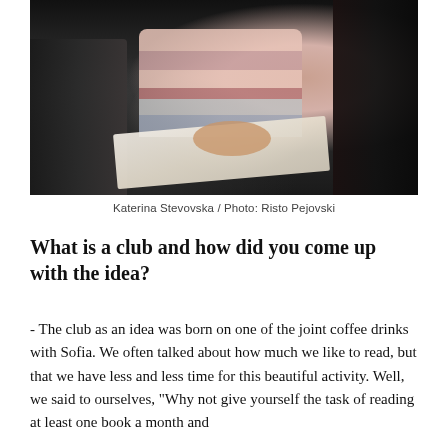[Figure (photo): Photo of people sitting and reading books together, taken in a dim indoor setting. One person wears a pink/rose striped sweater, another is dressed in dark clothing on the left, and dark hair is visible on the right edge.]
Katerina Stevovska / Photo: Risto Pejovski
What is a club and how did you come up with the idea?
- The club as an idea was born on one of the joint coffee drinks with Sofia. We often talked about how much we like to read, but that we have less and less time for this beautiful activity. Well, we said to ourselves, "Why not give yourself the task of reading at least one book a month and